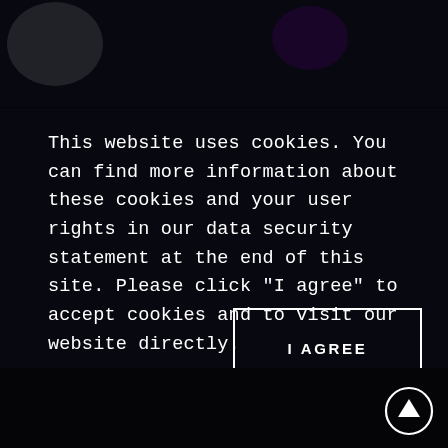[Figure (screenshot): Dark website header bar with a subtle light flare on the upper left and a blue/purple gradient line at the bottom of the header.]
This website uses cookies. You can find more information about these cookies and your user rights in our data security statement at the end of this site. Please click "I agree" to accept cookies and to visit our website directly.
I AGREE
[Figure (other): Circle with an upward arrow icon (scroll-to-top button) in the bottom right corner.]